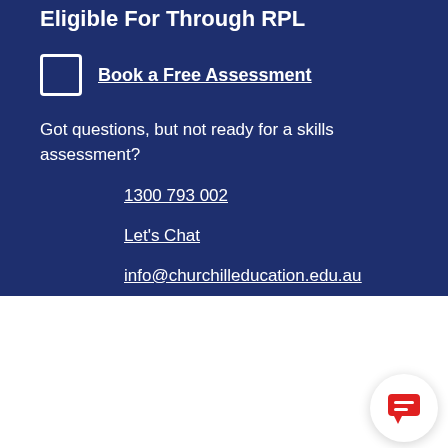Eligible For Through RPL
Book a Free Assessment
Got questions, but not ready for a skills assessment?
1300 793 002
Let's Chat
info@churchilleducation.edu.au
[Figure (illustration): White chat bubble icon on circular white background with shadow, bottom right corner]